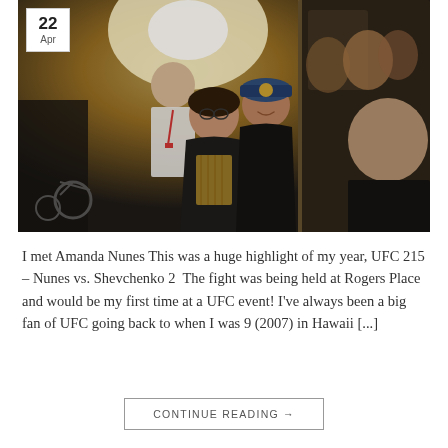[Figure (photo): Group of people posing for a photo near what appears to be a bus or vehicle entrance at an indoor/outdoor venue at night. A woman with glasses in the center, a person in dark clothing and blue hat next to her, a man in a white shirt with lanyard behind them, and a man in a black jacket on the right. A date badge showing '22 Apr' is overlaid in the top-left corner.]
I met Amanda Nunes This was a huge highlight of my year, UFC 215 – Nunes vs. Shevchenko 2  The fight was being held at Rogers Place and would be my first time at a UFC event! I've always been a big fan of UFC going back to when I was 9 (2007) in Hawaii [...]
CONTINUE READING →